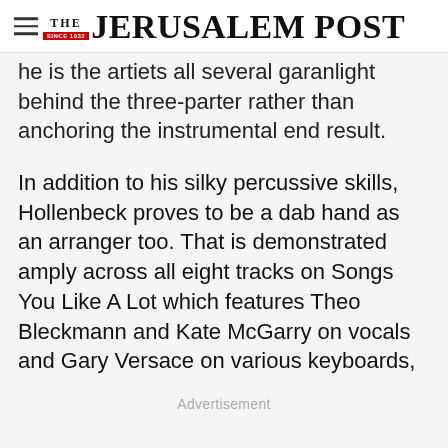THE JERUSALEM POST
he is the artiets all several garanlight behind the three-parter rather than anchoring the instrumental end result.
In addition to his silky percussive skills, Hollenbeck proves to be a dab hand as an arranger too. That is demonstrated amply across all eight tracks on Songs You Like A Lot which features Theo Bleckmann and Kate McGarry on vocals and Gary Versace on various keyboards,
Advertisement